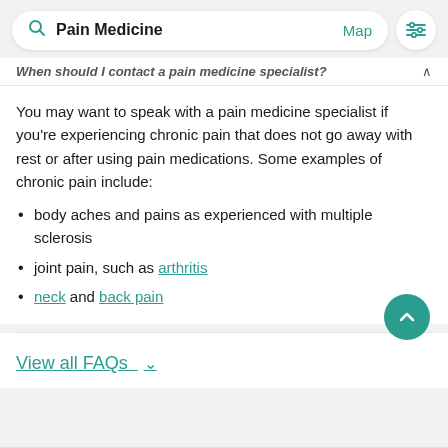Pain Medicine  Map
When should I contact a pain medicine specialist?
You may want to speak with a pain medicine specialist if you're experiencing chronic pain that does not go away with rest or after using pain medications. Some examples of chronic pain include:
body aches and pains as experienced with multiple sclerosis
joint pain, such as arthritis
neck and back pain
View all FAQs